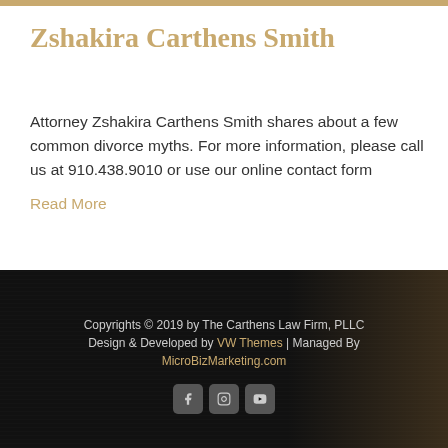Zshakira Carthens Smith
Attorney Zshakira Carthens Smith shares about a few common divorce myths. For more information, please call us at 910.438.9010 or use our online contact form
Read More
Copyrights © 2019 by The Carthens Law Firm, PLLC
Design & Developed by VW Themes | Managed By
MicroBizMarketing.com